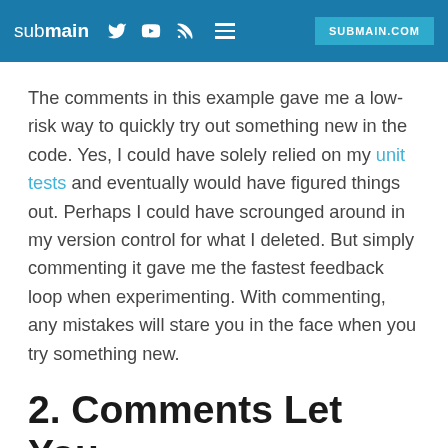submain | Twitter | YouTube | RSS | Menu | SUBMAIN.COM
The comments in this example gave me a low-risk way to quickly try out something new in the code. Yes, I could have solely relied on my unit tests and eventually would have figured things out. Perhaps I could have scrounged around in my version control for what I deleted. But simply commenting it gave me the fastest feedback loop when experimenting. With commenting, any mistakes will stare you in the face when you try something new.
2. Comments Let You Exhibit Without Getting in